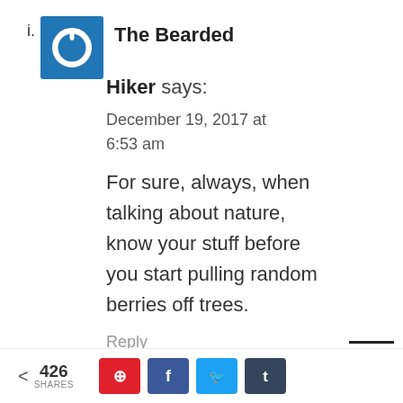The Bearded Hiker says:
December 19, 2017 at 6:53 am
For sure, always, when talking about nature, know your stuff before you start pulling random berries off trees.
Reply
< 426 SHARES  [Pinterest] [Facebook] [Twitter] [Tumblr]